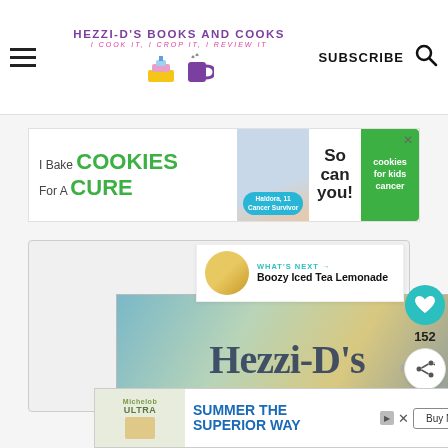HEZZI-D'S BOOKS AND COOKS
[Figure (infographic): Cookies for Kids Cancer advertisement banner: I Bake COOKIES For A CURE - Haldora, 11 Cancer Survivor - So can you!]
[Figure (infographic): Side panel with heart/like button showing 152 and share button]
[Figure (photo): Book cover preview showing Hezzi-D's in large serif text with colorful background]
WHAT'S NEXT → Boozy Iced Tea Lemonade
[Figure (infographic): Bottom advertisement: SUMMER THE SUPERIOR WAY - Buy Now button, with Michelob Ultra branding]